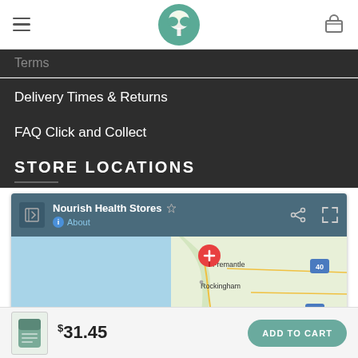Nourish Health Stores — website header with logo and navigation icons
Terms
Delivery Times & Returns
FAQ Click and Collect
STORE LOCATIONS
[Figure (map): Google Maps embed showing Nourish Health Stores location near Fremantle and Rockingham, Western Australia, with a red location pin marker]
Nourish Health Stores — About
$31.45 — ADD TO CART